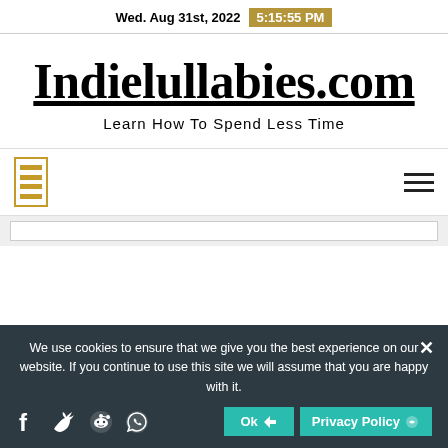Wed. Aug 31st, 2022  5:15:55 PM
Indielullabies.com
Learn How To Spend Less Time
[Figure (logo): Navigation bar with gold bordered logo icon on left and hamburger menu on right]
We use cookies to ensure that we give you the best experience on our website. If you continue to use this site we will assume that you are happy with it.
Ok  Privacy Policy